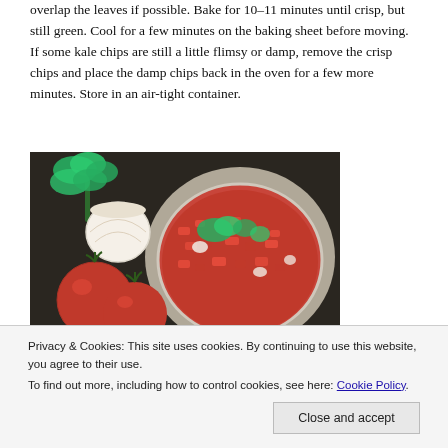overlap the leaves if possible. Bake for 10-11 minutes until crisp, but still green. Cool for a few minutes on the baking sheet before moving. If some kale chips are still a little flimsy or damp, remove the crisp chips and place the damp chips back in the oven for a few more minutes. Store in an air-tight container.
[Figure (photo): A bowl of freshly made salsa with chopped tomatoes, cilantro, and onion, alongside two whole red tomatoes, an onion, and fresh cilantro on a dark countertop.]
Privacy & Cookies: This site uses cookies. By continuing to use this website, you agree to their use.
To find out more, including how to control cookies, see here: Cookie Policy